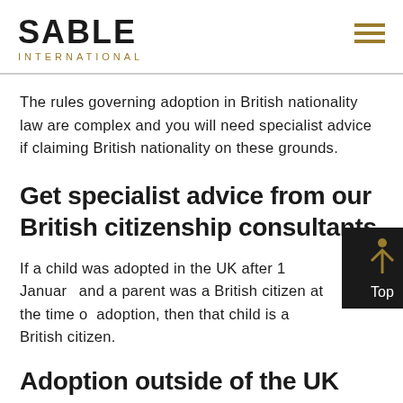SABLE INTERNATIONAL
The rules governing adoption in British nationality law are complex and you will need specialist advice if claiming British nationality on these grounds.
Get specialist advice from our British citizenship consultants
If a child was adopted in the UK after 1 January and a parent was a British citizen at the time of adoption, then that child is a British citizen.
Adoption outside of the UK